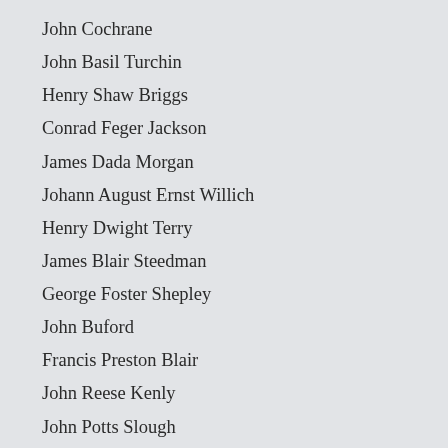John Cochrane
John Basil Turchin
Henry Shaw Briggs
Conrad Feger Jackson
James Dada Morgan
Johann August Ernst Willich
Henry Dwight Terry
James Blair Steedman
George Foster Shepley
John Buford
Francis Preston Blair
John Reese Kenly
John Potts Slough
Godfrey Weitzel